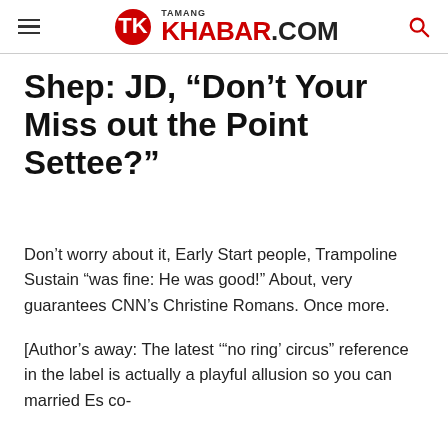TamangKhabar.com
Shep: JD, “Don’t Your Miss out the Point Settee?”
Don’t worry about it, Early Start people, Trampoline Sustain “was fine: He was good!” About, very guarantees CNN’s Christine Romans. Once more.
[Author’s away: The latest ‘“no ring’ circus” reference in the label is actually a playful allusion so you can married Es co-